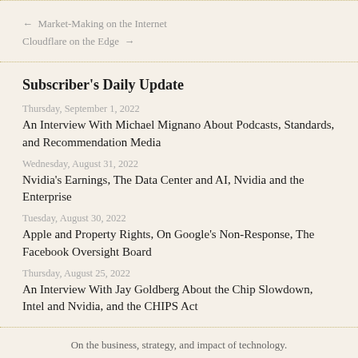← Market-Making on the Internet
Cloudflare on the Edge →
Subscriber's Daily Update
Thursday, September 1, 2022
An Interview With Michael Mignano About Podcasts, Standards, and Recommendation Media
Wednesday, August 31, 2022
Nvidia's Earnings, The Data Center and AI, Nvidia and the Enterprise
Tuesday, August 30, 2022
Apple and Property Rights, On Google's Non-Response, The Facebook Oversight Board
Thursday, August 25, 2022
An Interview With Jay Goldberg About the Chip Slowdown, Intel and Nvidia, and the CHIPS Act
On the business, strategy, and impact of technology.